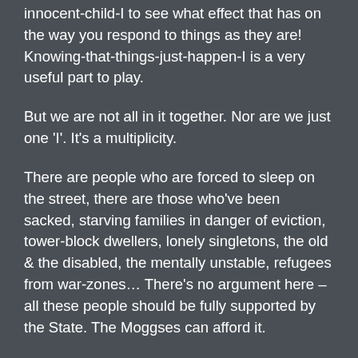innocent-child-I to see what effect that has on the way you respond to things as they are! Knowing-that-things-just-happen-I is a very useful part to play.
But we are not all in it together. Nor are we just one 'I'. It's a multiplicity.
There are people who are forced to sleep on the street, there are those who've been sacked, starving families in danger of eviction, tower-block dwellers, lonely singletons, the old & the disabled, the mentally unstable, refugees from war-zones… There's no argument here – all these people should be fully supported by the State. The Moggses can afford it.
Then there is the Boss Class who make sure they remain salaried & still supposedly in charge of things, those who stack up their money in some overseas tax-haven, very well-off pensioners with a guaranteed income, not so